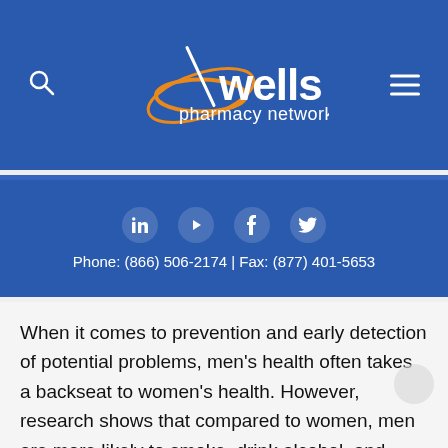[Figure (logo): Wells Pharmacy Network logo with search and hamburger menu icons on a blue background header]
Phone: (866) 506-2174 | Fax: (877) 401-5653
When it comes to prevention and early detection of potential problems, men's health often takes a backseat to women's health. However, research shows that compared to women, men are more likely to smoke, drink alcohol, and generally lead